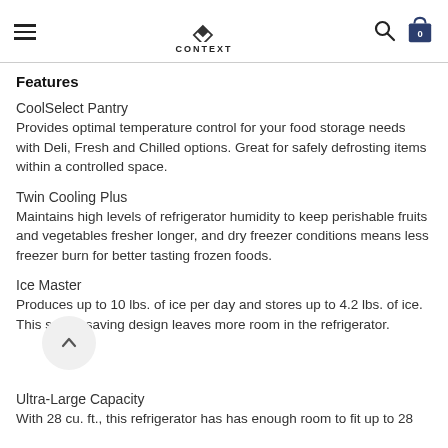CONTEXT
Features
CoolSelect Pantry
Provides optimal temperature control for your food storage needs with Deli, Fresh and Chilled options. Great for safely defrosting items within a controlled space.
Twin Cooling Plus
Maintains high levels of refrigerator humidity to keep perishable fruits and vegetables fresher longer, and dry freezer conditions means less freezer burn for better tasting frozen foods.
Ice Master
Produces up to 10 lbs. of ice per day and stores up to 4.2 lbs. of ice. This space-saving design leaves more room in the refrigerator.
Ultra-Large Capacity
With 28 cu. ft., this refrigerator has has enough room to fit up to 28